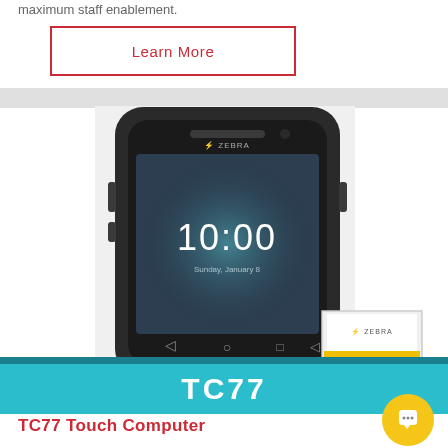maximum staff enablement.
Learn More
[Figure (photo): Zebra TC77 Touch Computer handheld device showing 10:00 on screen, with Zebra Registered Reseller badge and TC77 teal banner below]
TC77 Touch Computer